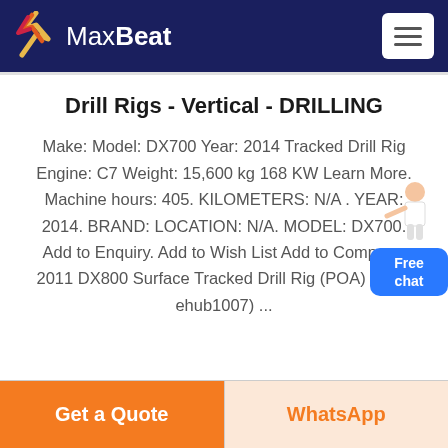MaxBeat
Drill Rigs - Vertical - DRILLING
Make: Model: DX700 Year: 2014 Tracked Drill Rig Engine: C7 Weight: 15,600 kg 168 KW Learn More. Machine hours: 405. KILOMETERS: N/A . YEAR: 2014. BRAND: LOCATION: N/A. MODEL: DX700. Add to Enquiry. Add to Wish List Add to Compare. 2011 DX800 Surface Tracked Drill Rig (POA) (sale-ehub1007) ...
[Figure (illustration): Customer service representative illustration next to blue Free chat button]
Get a Quote
WhatsApp